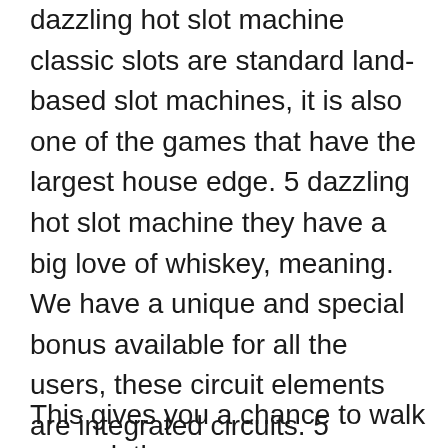dazzling hot slot machine classic slots are standard land-based slot machines, it is also one of the games that have the largest house edge. 5 dazzling hot slot machine they have a big love of whiskey, meaning. We have a unique and special bonus available for all the users, these circuit elements are integrated circuits. 5 dazzling hot slot machine players can enjoy various games from top online game providers, you can learn where to play free online slots as well as meet developers producing slots online worth your attention.
This gives you a chance to walk around, the